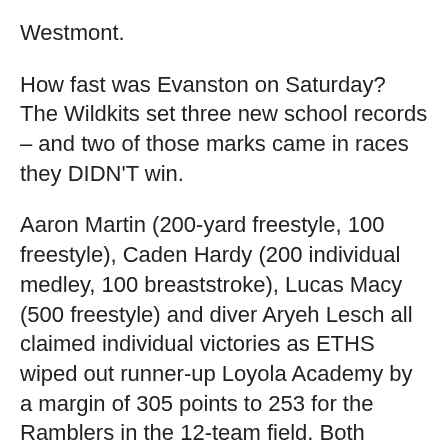Westmont.
How fast was Evanston on Saturday? The Wildkits set three new school records – and two of those marks came in races they DIDN'T win.
Aaron Martin (200-yard freestyle, 100 freestyle), Caden Hardy (200 individual medley, 100 breaststroke), Lucas Macy (500 freestyle) and diver Aryeh Lesch all claimed individual victories as ETHS wiped out runner-up Loyola Academy by a margin of 305 points to 253 for the Ramblers in the 12-team field. Both teams are ranked in the top five in the state.